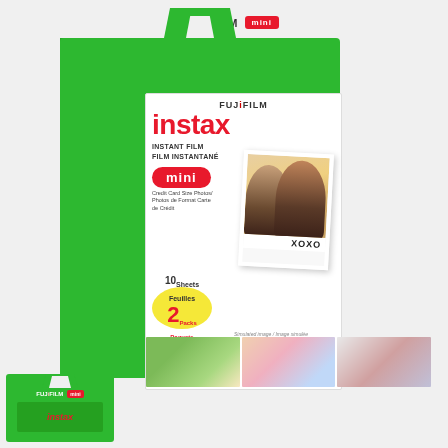[Figure (photo): Fujifilm Instax Mini Instant Film twin pack (10x2 sheets) product box. Green box with handle hole at top, 'FUJIFILM instax mini' branding. Front panel shows Fujifilm logo, 'instax' in red, 'INSTANT FILM / FILM INSTANTANÉ', 'mini' badge, credit card size photos text, a photo of two girls making a heart shape with hands captioned 'XOXO', a 10x2 yellow oval badge, and bottom strip of three sample photos. Side panel shows vertical instax mini text and small photo. A second smaller thumbnail image of another box is visible at bottom left.]